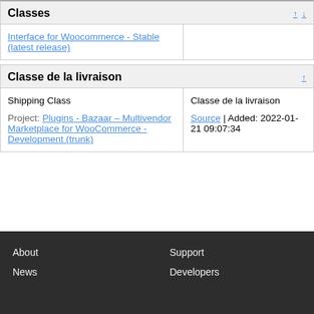Classes
| Interface for Woocommerce - Stable (latest release) |  |
Classe de la livraison
| Shipping Class

Project: Plugins - Bazaar – Multivendor Marketplace for WooCommerce - Development (trunk) | Classe de la livraison

Source | Added: 2022-01-21 09:07:34 |
About   Support   News   Developers